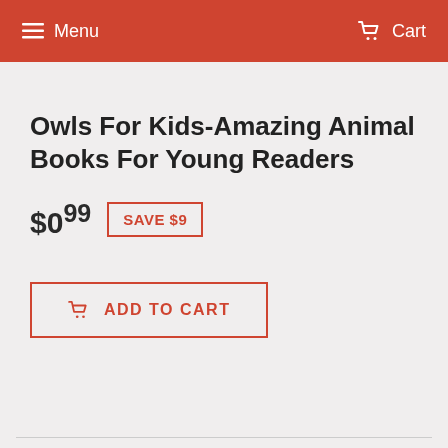Menu  Cart
Owls For Kids-Amazing Animal Books For Young Readers
$0.99  SAVE $9
ADD TO CART